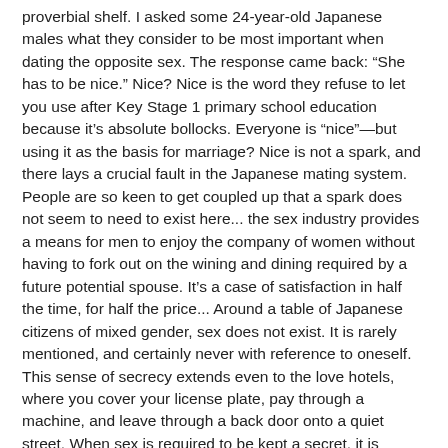proverbial shelf. I asked some 24-year-old Japanese males what they consider to be most important when dating the opposite sex. The response came back: “She has to be nice.” Nice? Nice is the word they refuse to let you use after Key Stage 1 primary school education because it’s absolute bollocks. Everyone is “nice”—but using it as the basis for marriage? Nice is not a spark, and there lays a crucial fault in the Japanese mating system. People are so keen to get coupled up that a spark does not seem to need to exist here... the sex industry provides a means for men to enjoy the company of women without having to fork out on the wining and dining required by a future potential spouse. It’s a case of satisfaction in half the time, for half the price... Around a table of Japanese citizens of mixed gender, sex does not exist. It is rarely mentioned, and certainly never with reference to oneself. This sense of secrecy extends even to the love hotels, where you cover your license plate, pay through a machine, and leave through a back door onto a quiet street. When sex is required to be kept a secret, it is regarded with connotations of negativity. And when something is viewed negatively, it tends to be considered taboo... For the Japanese, the approach of a stranger is an